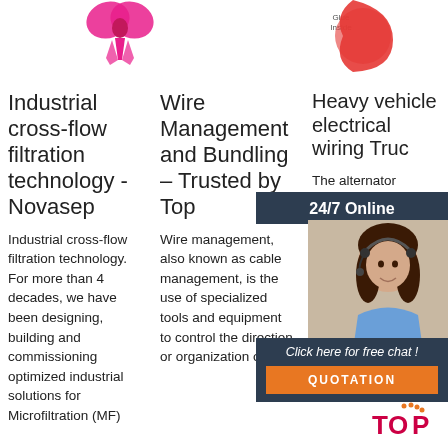[Figure (photo): Pink ribbon/bow shape at top center]
[Figure (photo): Red curved shape at top right with 'Glue Inside' label]
Industrial cross-flow filtration technology - Novasep
Wire Management and Bundling – Trusted by Top
Heavy vehicle electrical wiring Truc
Industrial cross-flow filtration technology. For more than 4 decades, we have been designing, building and commissioning optimized industrial solutions for Microfiltration (MF)
Wire management, also known as cable management, is the use of specialized tools and equipment to control the direction or organization of
The alternator regulates to hold the alternator voltage level (typically 14.2V for vented lead acid batteries and 14.6V for maintenance free lead acid batteries). Under heavy load, the
[Figure (photo): Customer service agent photo with 24/7 Online chat widget overlay, orange QUOTATION button]
[Figure (logo): TOP logo with orange dots in bottom right corner]